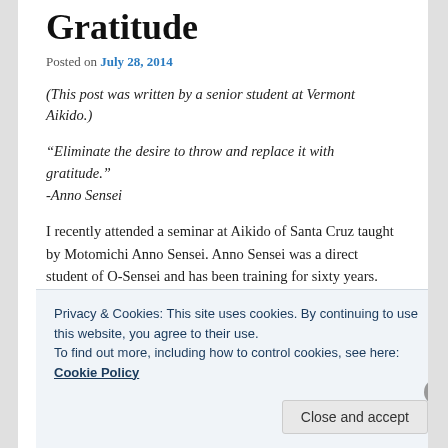Gratitude
Posted on July 28, 2014
(This post was written by a senior student at Vermont Aikido.)
“Eliminate the desire to throw and replace it with gratitude.” -Anno Sensei
I recently attended a seminar at Aikido of Santa Cruz taught by Motomichi Anno Sensei. Anno Sensei was a direct student of O-Sensei and has been training for sixty years.
Privacy & Cookies: This site uses cookies. By continuing to use this website, you agree to their use.
To find out more, including how to control cookies, see here: Cookie Policy